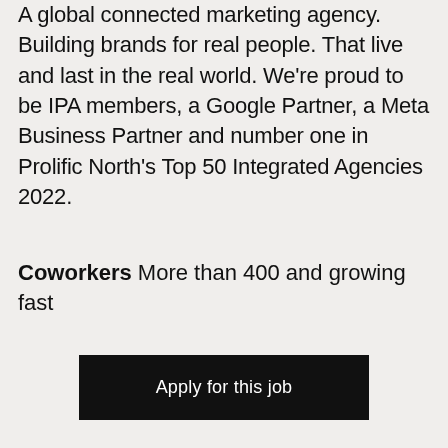A global connected marketing agency. Building brands for real people. That live and last in the real world. We're proud to be IPA members, a Google Partner, a Meta Business Partner and number one in Prolific North's Top 50 Integrated Agencies 2022.
Coworkers More than 400 and growing fast
Apply for this job